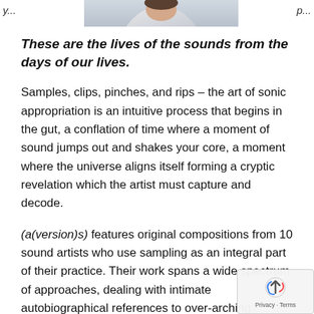[Figure (photo): Partial photo strip at top of page showing a person, partially visible, against a light background. Text fragments visible on left and right sides of photo.]
These are the lives of the sounds from the days of our lives.
Samples, clips, pinches, and rips – the art of sonic appropriation is an intuitive process that begins in the gut, a conflation of time where a moment of sound jumps out and shakes your core, a moment where the universe aligns itself forming a cryptic revelation which the artist must capture and decode.
(a(version)s) features original compositions from 10 sound artists who use sampling as an integral part of their practice. Their work spans a wide spectrum of approaches, dealing with intimate autobiographical references to over-arching archival systems expos… politics of listening. Sounds steeped and inspired by their